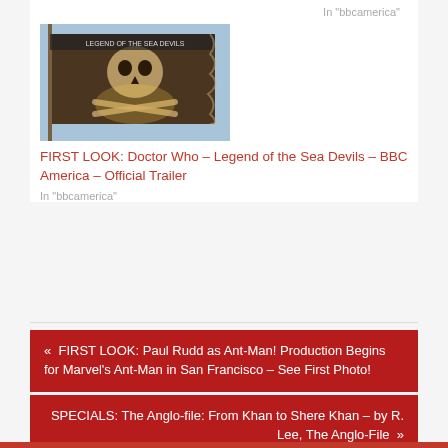In "bbcamerica"
[Figure (photo): A pirate skull-and-crossbones flag waving against a bright sky, with a book title visible at the top reading 'Doctor Who: Legend of the Sea Devils']
FIRST LOOK: Doctor Who – Legend of the Sea Devils – BBC America – Official Trailer
In "bbcamerica"
«  FIRST LOOK: Paul Rudd as Ant-Man! Production Begins for Marvel's Ant-Man in San Francisco – See First Photo!
SPECIALS: The Anglo-file: From Khan to Shere Khan – by R. Lee, The Anglo-File  »